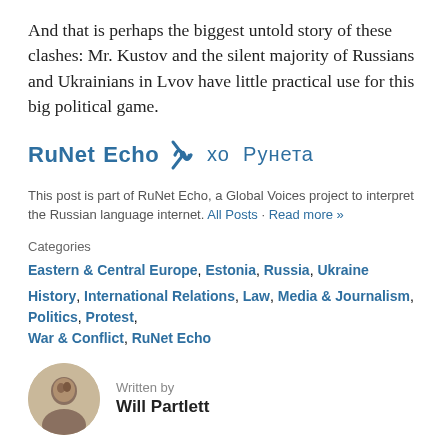And that is perhaps the biggest untold story of these clashes: Mr. Kustov and the silent majority of Russians and Ukrainians in Lvov have little practical use for this big political game.
[Figure (logo): RuNet Echo logo with sound wave graphic and Cyrillic text 'хо Рунета']
This post is part of RuNet Echo, a Global Voices project to interpret the Russian language internet. All Posts · Read more »
Categories
Eastern & Central Europe, Estonia, Russia, Ukraine
History, International Relations, Law, Media & Journalism, Politics, Protest, War & Conflict, RuNet Echo
Written by Will Partlett